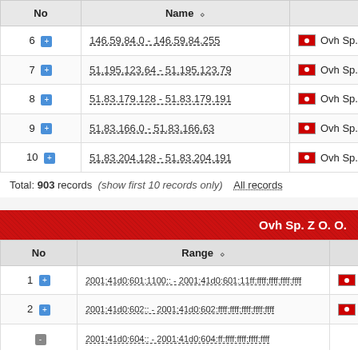| No | Name |  |
| --- | --- | --- |
| 6 + | 146.59.84.0 - 146.59.84.255 | Ovh Sp. Z O. |
| 7 + | 51.195.123.64 - 51.195.123.79 | Ovh Sp. Z O. |
| 8 + | 51.83.179.128 - 51.83.179.191 | Ovh Sp. Z O. |
| 9 + | 51.83.166.0 - 51.83.166.63 | Ovh Sp. Z O. |
| 10 + | 51.83.204.128 - 51.83.204.191 | Ovh Sp. Z O. |
Total: 903 records  (show first 10 records only)  All records
Ovh Sp. Z O. O.
| No | Range |  |
| --- | --- | --- |
| 1 + | 2001:41d0:601:1100:: - 2001:41d0:601:11ff:ffff:ffff:ffff:ffff | Ov |
| 2 + | 2001:41d0:602:: - 2001:41d0:602:ffff:ffff:ffff:ffff:ffff | Ov |
| 3 + | 2001:41d0:604:: - 2001:41d0:604:ff:ffff:ffff:ffff:ffff | Ov |